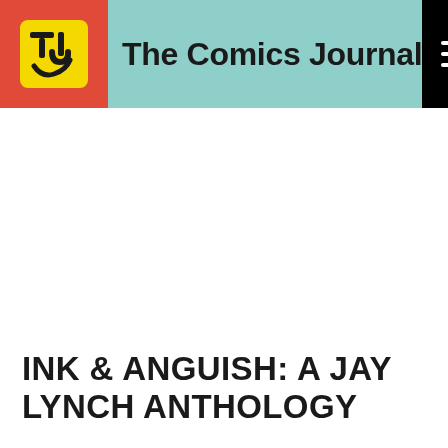[Figure (logo): The Comics Journal website header with red TCJ logo on left, teal background with site name in center, and black hamburger menu on right]
INK & ANGUISH: A JAY LYNCH ANTHOLOGY